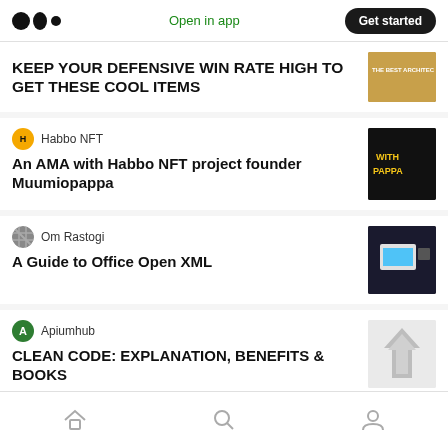Medium logo | Open in app | Get started
KEEP YOUR DEFENSIVE WIN RATE HIGH TO GET THESE COOL ITEMS
Habbo NFT
An AMA with Habbo NFT project founder Muumiopappa
Om Rastogi
A Guide to Office Open XML
Apiumhub
CLEAN CODE: EXPLANATION, BENEFITS & BOOKS
Home | Search | Profile